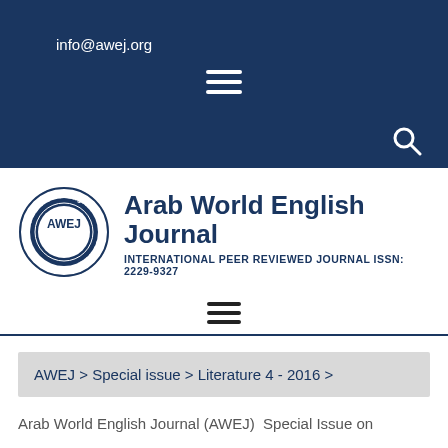info@awej.org
[Figure (logo): Arab World English Journal circular logo with AWEJ in center and text around the ring]
Arab World English Journal
INTERNATIONAL PEER REVIEWED JOURNAL ISSN: 2229-9327
AWEJ > Special issue > Literature 4 - 2016 >
Arab World English Journal (AWEJ)  Special Issue on